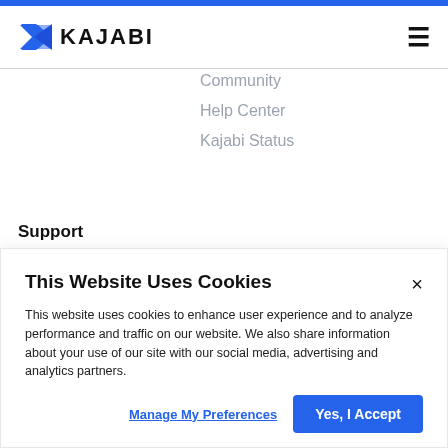[Figure (logo): Kajabi logo with blue geometric K icon and bold KAJABI wordmark]
Community
Help Center
Kajabi Status
Support
This Website Uses Cookies
This website uses cookies to enhance user experience and to analyze performance and traffic on our website. We also share information about your use of our site with our social media, advertising and analytics partners.
Manage My Preferences
Yes, I Accept